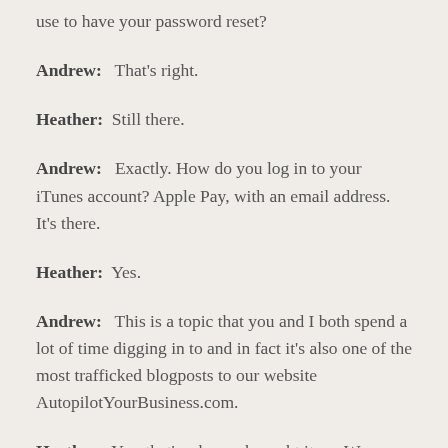use to have your password reset?
Andrew:   That's right.
Heather:  Still there.
Andrew:   Exactly. How do you log in to your iTunes account? Apple Pay, with an email address. It's there.
Heather:  Yes.
Andrew:   This is a topic that you and I both spend a lot of time digging in to and in fact it's also one of the most trafficked blogposts to our website AutopilotYourBusiness.com.
Heather:  Yes, that's why we brought it up. We are listening to you guys and we're thinking well, if you